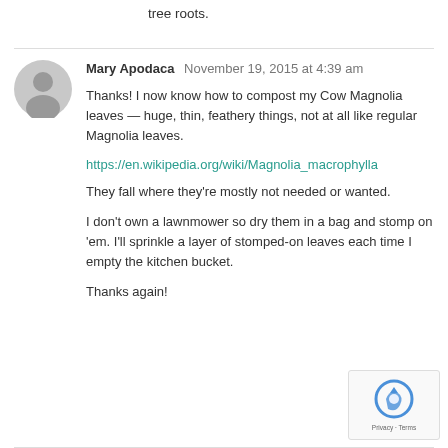tree roots.
Mary Apodaca   November 19, 2015 at 4:39 am
Thanks! I now know how to compost my Cow Magnolia leaves — huge, thin, feathery things, not at all like regular Magnolia leaves.
https://en.wikipedia.org/wiki/Magnolia_macrophylla
They fall where they're mostly not needed or wanted.
I don't own a lawnmower so dry them in a bag and stomp on 'em. I'll sprinkle a layer of stomped-on leaves each time I empty the kitchen bucket.
Thanks again!
[Figure (other): reCAPTCHA Privacy Terms badge in bottom right corner]